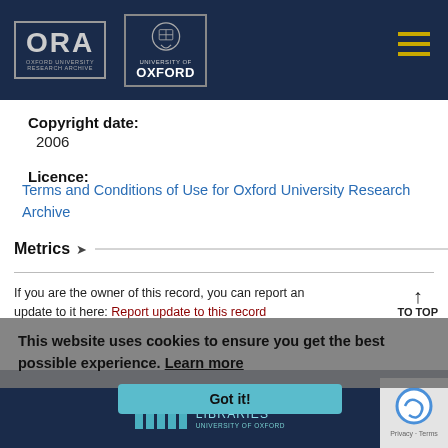[Figure (logo): ORA Oxford University Research Archive logo and University of Oxford crest logo on dark navy header, with hamburger menu icon on the right]
Copyright date:
2006
Licence:
Terms and Conditions of Use for Oxford University Research Archive
Metrics ∨
If you are the owner of this record, you can report an update to it here: Report update to this record
This website uses cookies to ensure you get the best possible experience. Learn more
[Figure (logo): Bodleian Libraries University of Oxford footer logo on dark navy background]